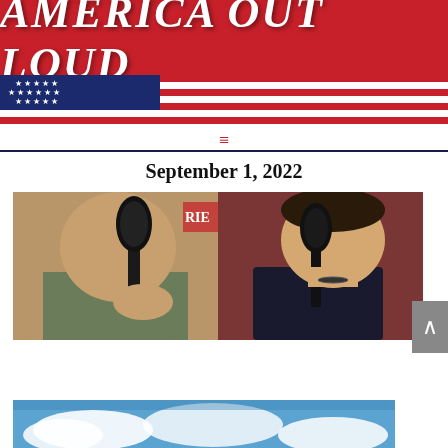AMERICA OUT LOUD
September 1, 2022
[Figure (photo): Two men sitting across from each other holding microphones in a podcast studio setting. Left side shows an older man in olive shirt with a microphone; right side shows a younger man in dark shirt with a microphone. Background shows neon-style lettering.]
[Figure (photo): Partial view of another image at the bottom of the page showing a sky with clouds.]